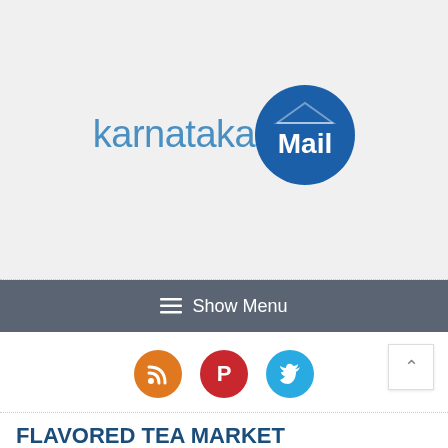[Figure (logo): Karnataka Mail logo — 'karnataka' in light blue sans-serif text and 'Mail' in white bold text inside a dark blue circle badge]
≡  Show Menu
[Figure (infographic): Three circular social media icons: RSS (orange), Pinterest (red), Twitter (blue)]
FLAVORED TEA MARKET COMPREHENSIVE